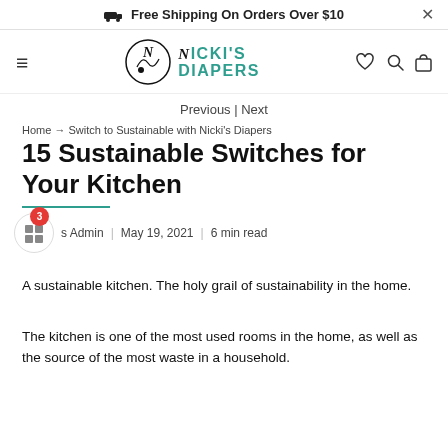Free Shipping On Orders Over $10
[Figure (logo): Nicki's Diapers logo with stylized baby and script lettering]
Previous | Next
Home → Switch to Sustainable with Nicki's Diapers
15 Sustainable Switches for Your Kitchen
s Admin | May 19, 2021 | 6 min read
A sustainable kitchen. The holy grail of sustainability in the home.
The kitchen is one of the most used rooms in the home, as well as the source of the most waste in a household.